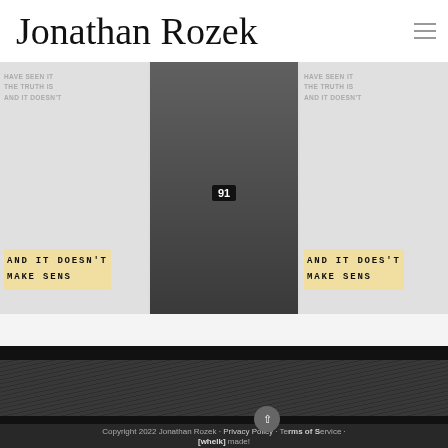Jonathan Rozek
[Figure (screenshot): Three blog post card thumbnails in a row: left shows a marquee sign reading 'AND IT DOESN'T MAKE SENS', center shows a person in jersey #91, right shows another marquee sign 'AND IT DOESN'T MAKE SENS']
[Figure (photo): Dark textured footer background section]
Copyright 2022 Jonathan Rozek · Privacy Policy · Terms of Service · [whelk] made!